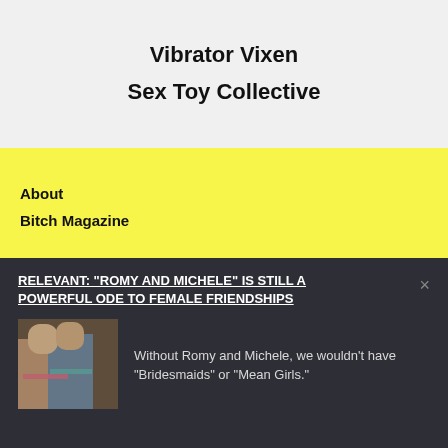Vibrator Vixen
Sex Toy Collective
About
Bitch Magazine
RELEVANT: “ROMY AND MICHELE” IS STILL A POWERFUL ODE TO FEMALE FRIENDSHIPS
[Figure (photo): Photo of two women, Romy and Michele characters, in colorful outfits]
Without Romy and Michele, we wouldn’t have “Bridesmaids” or “Mean Girls.”